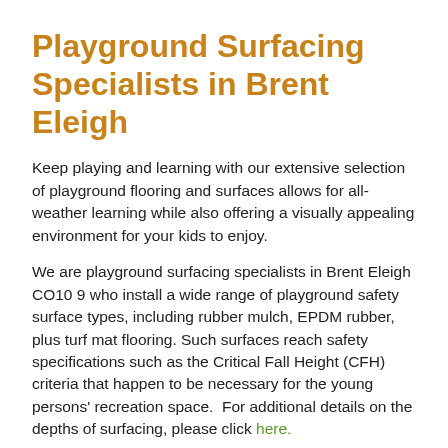Playground Surfacing Specialists in Brent Eleigh
Keep playing and learning with our extensive selection of playground flooring and surfaces allows for all-weather learning while also offering a visually appealing environment for your kids to enjoy.
We are playground surfacing specialists in Brent Eleigh CO10 9 who install a wide range of playground safety surface types, including rubber mulch, EPDM rubber, plus turf mat flooring. Such surfaces reach safety specifications such as the Critical Fall Height (CFH) criteria that happen to be necessary for the young persons' recreation space.  For additional details on the depths of surfacing, please click here.
We also ensure all of our floor designs will be porous, which makes it possible for water to drain through your drainage system with ease, so that your exterior does not become hazardous that might cause the young children to become injured.